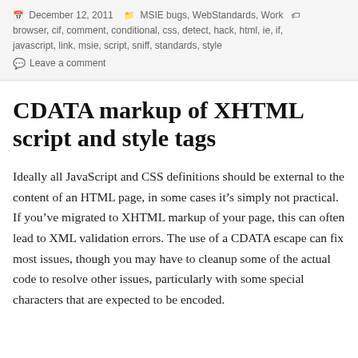December 12, 2011   MSIE bugs, WebStandards, Work   browser, cif, comment, conditional, css, detect, hack, html, ie, if, javascript, link, msie, script, sniff, standards, style   Leave a comment
CDATA markup of XHTML script and style tags
Ideally all JavaScript and CSS definitions should be external to the content of an HTML page, in some cases it’s simply not practical. If you’ve migrated to XHTML markup of your page, this can often lead to XML validation errors. The use of a CDATA escape can fix most issues, though you may have to cleanup some of the actual code to resolve other issues, particularly with some special characters that are expected to be encoded.